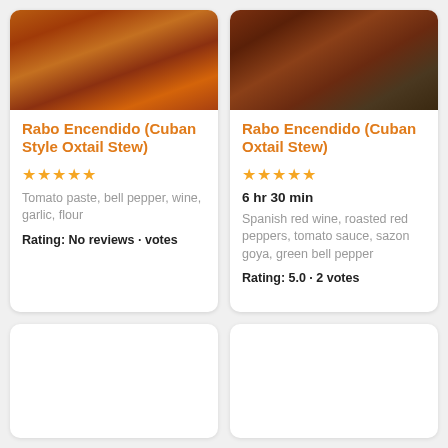[Figure (photo): Close-up photo of Cuban oxtail stew with reddish-brown sauce and a bay leaf]
Rabo Encendido (Cuban Style Oxtail Stew)
★★★★★
Tomato paste, bell pepper, wine, garlic, flour
Rating: No reviews · votes
[Figure (photo): Close-up photo of Cuban oxtail stew with dark sauce and green herbs]
Rabo Encendido (Cuban Oxtail Stew)
★★★★★
6 hr 30 min
Spanish red wine, roasted red peppers, tomato sauce, sazon goya, green bell pepper
Rating: 5.0 · 2 votes
[Figure (photo): Empty card placeholder (partially visible)]
[Figure (photo): Empty card placeholder (partially visible)]